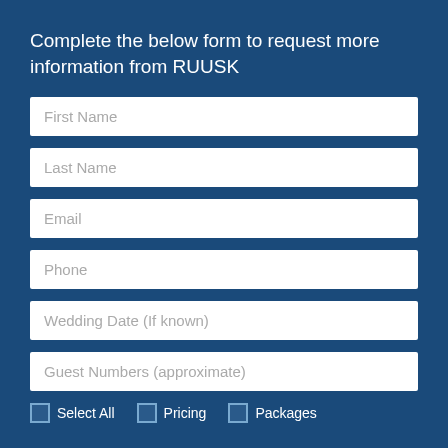Complete the below form to request more information from RUUSK
First Name
Last Name
Email
Phone
Wedding Date (If known)
Guest Numbers (approximate)
Select All
Pricing
Packages